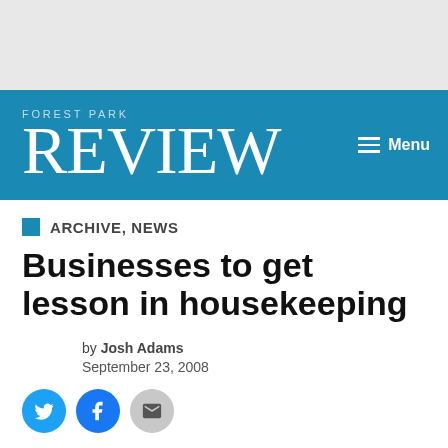FOREST PARK REVIEW
ARCHIVE, NEWS
Businesses to get lesson in housekeeping
by Josh Adams
September 23, 2008
[Figure (other): Social sharing icons: Twitter (blue bird), Facebook (blue f), Email (gray envelope)]